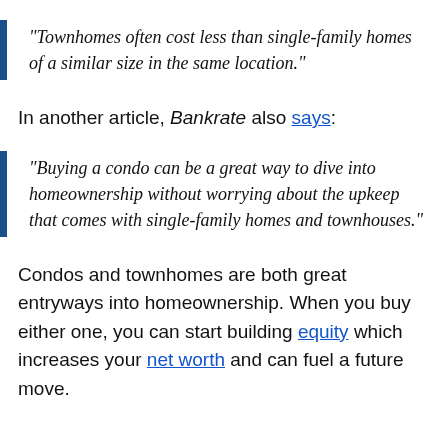“Townhomes often cost less than single-family homes of a similar size in the same location.”
In another article, Bankrate also says:
“Buying a condo can be a great way to dive into homeownership without worrying about the upkeep that comes with single-family homes and townhouses.”
Condos and townhomes are both great entryways into homeownership. When you buy either one, you can start building equity which increases your net worth and can fuel a future move.